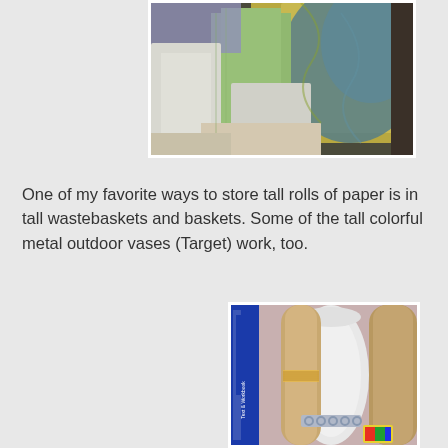[Figure (photo): Photo of colorful decorative papers stored in white file/paper organizers on a desk or shelf. Papers include purple, green, gold/yellow, and blue-green marbled sheets fanned out in holders.]
One of my favorite ways to store tall rolls of paper is in tall wastebaskets and baskets. Some of the tall colorful metal outdoor vases (Target) work, too.
[Figure (photo): Photo showing tall rolls of paper stored upright in what appears to be a basket or wastebasket, alongside a blue book (Text & Workbook). The rolls are various sizes including a large white roll and tan/brown rolls.]